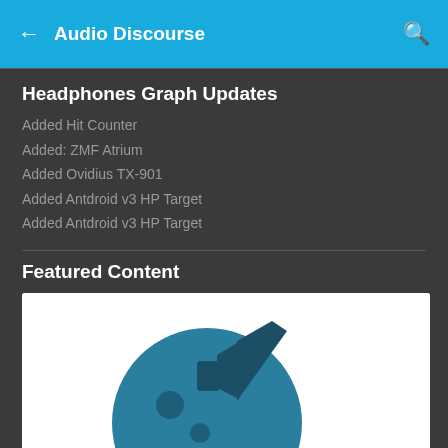Audio Discourse
Headphones Graph Updates
Added Hit Counter
Added: ZMF Atrium
Added Ovidius TX-901
Added Antdroid v3 HP Target
Added Antdroid v3 HP Target
Featured Content
[Figure (logo): antdroid IEM Ranking List logo — a teal circle with a megaphone icon and two-tone text label]